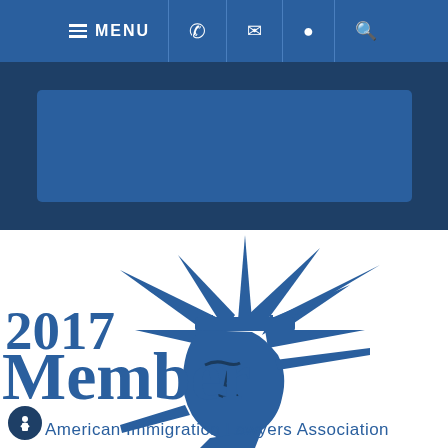MENU navigation bar with phone, email, location, and search icons
[Figure (logo): 2017 Member American Immigration Lawyers Association logo featuring Statue of Liberty head illustration in blue]
American Immigration Lawyers Association